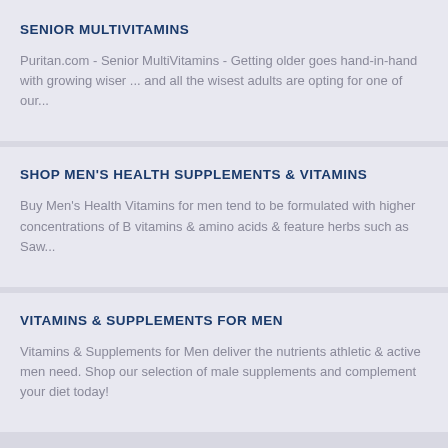SENIOR MULTIVITAMINS
Puritan.com - Senior MultiVitamins - Getting older goes hand-in-hand with growing wiser ... and all the wisest adults are opting for one of our...
SHOP MEN'S HEALTH SUPPLEMENTS & VITAMINS
Buy Men's Health Vitamins for men tend to be formulated with higher concentrations of B vitamins & amino acids & feature herbs such as Saw...
VITAMINS & SUPPLEMENTS FOR MEN
Vitamins & Supplements for Men deliver the nutrients athletic & active men need. Shop our selection of male supplements and complement your diet today!